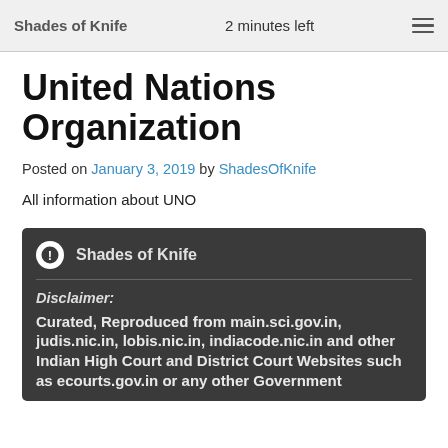Shades of Knife   2 minutes left
United Nations Organization
Posted on January 3, 2019 by ShadesOfKnife
All information about UNO
Shades of Knife
Disclaimer:
Curated, Reproduced from main.sci.gov.in, judis.nic.in, lobis.nic.in, indiacode.nic.in and other Indian High Court and District Court Websites such as ecourts.gov.in or any other Government